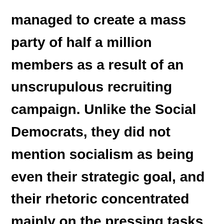managed to create a mass party of half a million members as a result of an unscrupulous recruiting campaign. Unlike the Social Democrats, they did not mention socialism as being even their strategic goal, and their rhetoric concentrated mainly on the pressing tasks of reconstruction combined with reform. Their avowed programme was